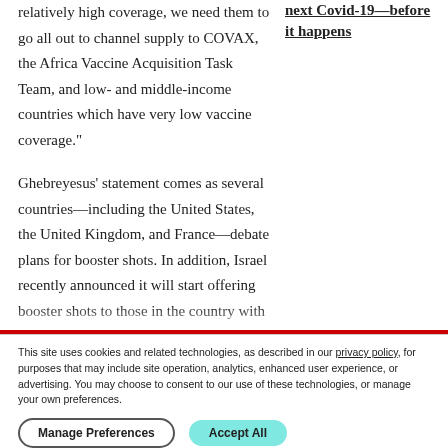relatively high coverage, we need them to go all out to channel supply to COVAX, the Africa Vaccine Acquisition Task Team, and low- and middle-income countries which have very low vaccine coverage."
next Covid-19—before it happens
Ghebreyesus' statement comes as several countries—including the United States, the United Kingdom, and France—debate plans for booster shots. In addition, Israel recently announced it will start offering booster shots to those in the country with weakened immune systems. Israel
This site uses cookies and related technologies, as described in our privacy policy, for purposes that may include site operation, analytics, enhanced user experience, or advertising. You may choose to consent to our use of these technologies, or manage your own preferences.